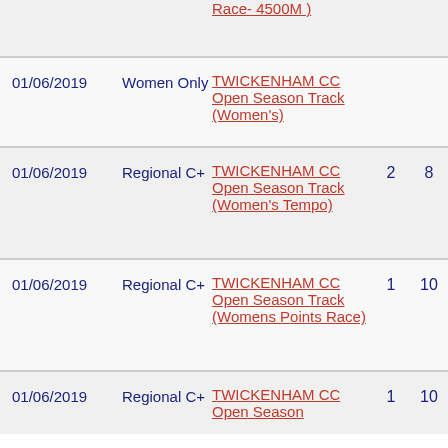| Date | Category | Event |  |  |
| --- | --- | --- | --- | --- |
|  |  | Race- 4500M ) |  |  |
| 01/06/2019 | Women Only | TWICKENHAM CC Open Season Track (Women's) |  |  |
| 01/06/2019 | Regional C+ | TWICKENHAM CC Open Season Track (Women's Tempo) | 2 | 8 |
| 01/06/2019 | Regional C+ | TWICKENHAM CC Open Season Track (Womens Points Race) | 1 | 10 |
| 01/06/2019 | Regional C+ | TWICKENHAM CC Open Season | 1 | 10 |